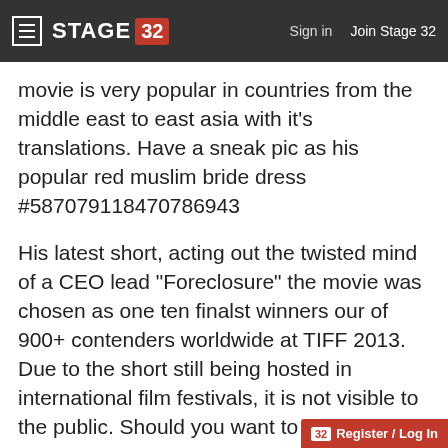≡ STAGE 32  Sign in  Join Stage 32
movie is very popular in countries from the middle east to east asia with it's translations. Have a sneak pic as his popular red muslim bride dress #587079118470786943
His latest short, acting out the twisted mind of a CEO lead "Foreclosure" the movie was chosen as one ten finalst winners our of 900+ contenders worldwide at TIFF 2013. Due to the short still being hosted in international film festivals, it is not visible to the public. Should you want to vision it contact Victor after checking your credentials he can p...